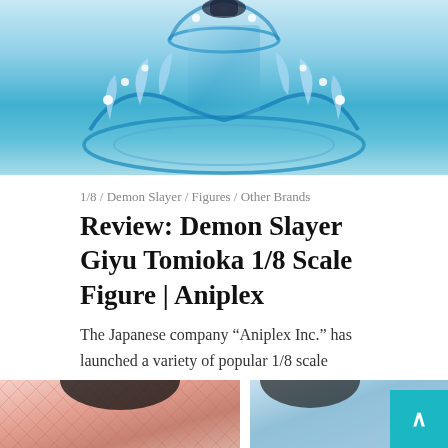[Figure (photo): Product photo of Demon Slayer Giyu Tomioka 1/8 scale figure with blue water splash effect base on light blue background]
1/8 / Demon Slayer / Figures / Other Brands
Review: Demon Slayer Giyu Tomioka 1/8 Scale Figure | Aniplex
The Japanese company “Aniplex Inc.” has launched a variety of popular 1/8 scale figures of “Demon Slayer: Kimetsu no
READ MORE »
[Figure (photo): Bottom cropped product photos showing two Demon Slayer figures]